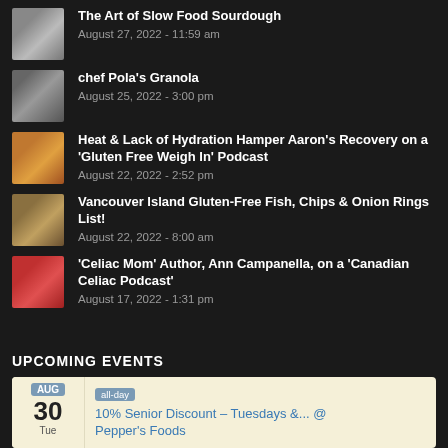The Art of Slow Food Sourdough
August 27, 2022 - 11:59 am
chef Pola's Granola
August 25, 2022 - 3:00 pm
Heat & Lack of Hydration Hamper Aaron's Recovery on a 'Gluten Free Weigh In' Podcast
August 22, 2022 - 2:52 pm
Vancouver Island Gluten-Free Fish, Chips & Onion Rings List!
August 22, 2022 - 8:00 am
'Celiac Mom' Author, Ann Campanella, on a 'Canadian Celiac Podcast'
August 17, 2022 - 1:31 pm
UPCOMING EVENTS
all-day  10% Senior Discount – Tuesdays &... @ Pepper's Foods
AUG 30 Tue